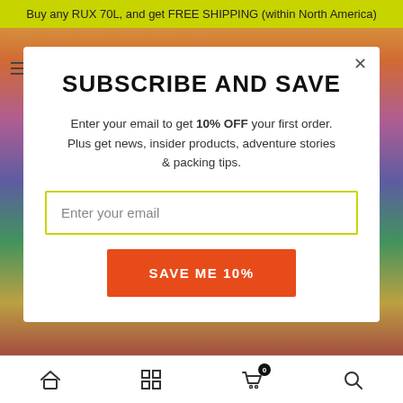Buy any RUX 70L, and get FREE SHIPPING (within North America)
SUBSCRIBE AND SAVE
Enter your email to get 10% OFF your first order. Plus get news, insider products, adventure stories & packing tips.
Enter your email
SAVE ME 10%
Home | Grid | Cart (0) | Search